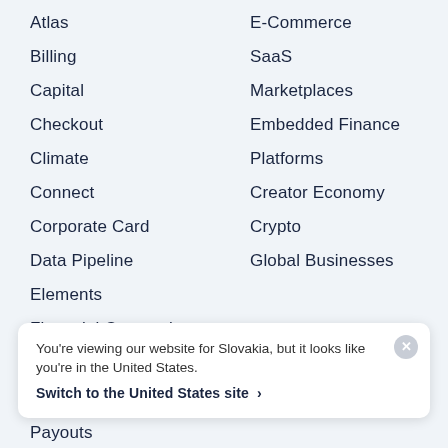Atlas
Billing
Capital
Checkout
Climate
Connect
Corporate Card
Data Pipeline
Elements
Financial Connections
Identity
Invoicing
E-Commerce
SaaS
Marketplaces
Embedded Finance
Platforms
Creator Economy
Crypto
Global Businesses
Integrations & Custom Solutions
You're viewing our website for Slovakia, but it looks like you're in the United States.
Switch to the United States site ›
Payouts